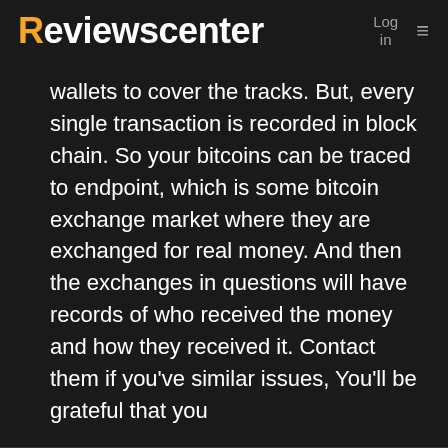Reviewscenter  Log in  ≡
wallets to cover the tracks. But, every single transaction is recorded in block chain. So your bitcoins can be traced to endpoint, which is some bitcoin exchange market where they are exchanged for real money. And then the exchanges in questions will have records of who received the money and how they received it. Contact them if you've similar issues, You'll be grateful that you
Williams > hourly-dollar
23 hours ago 🔗